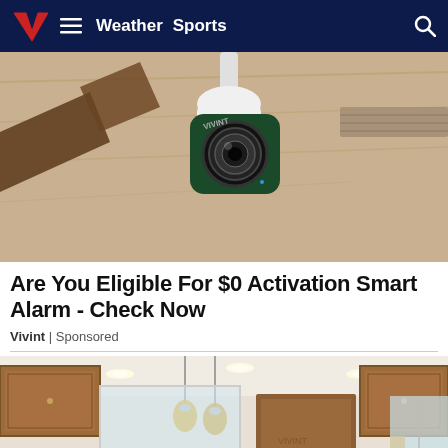Weather  Sports
[Figure (photo): Close-up of a Vivint smart security camera mounted on a ceiling, with a dark green/black body, large lens, and beige wood-paneled ceiling in the background.]
Are You Eligible For $0 Activation Smart Alarm - Check Now
Vivint | Sponsored
[Figure (photo): Interior photo of a kitchen with wood cabinets, recessed lighting, pendant lights, and a range hood.]